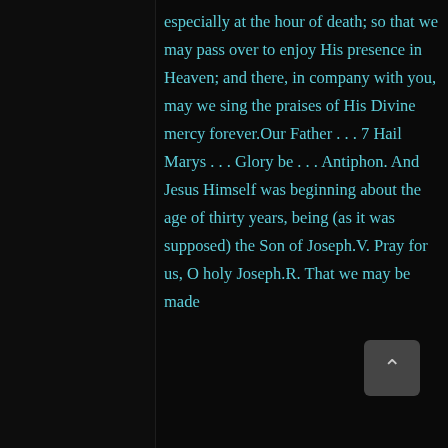especially at the hour of death; so that we may pass over to enjoy His presence in Heaven; and there, in company with you, may we sing the praises of His Divine mercy forever.Our Father . . . 7 Hail Marys . . . Glory be . . . Antiphon. And Jesus Himself was beginning about the age of thirty years, being (as it was supposed) the Son of Joseph.V. Pray for us, O holy Joseph.R. That we may be made